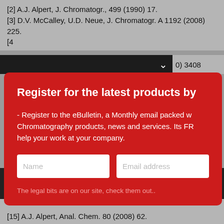[2] A.J. Alpert, J. Chromatogr., 499 (1990) 17.
[3] D.V. McCalley, U.D. Neue, J. Chromatogr. A 1192 (2008) 225.
[Figure (screenshot): Red modal popup overlay on a document page. The modal contains a newsletter registration form with title 'Register for the latest products by', body text about eBulletin monthly email for Chromatography products, two input fields for Name and Email address, and legal text. Behind the modal: reference list items and a dark cookie consent bar with 'I AGREE' and 'DECLINE ALL' buttons.]
[15] A.J. Alpert, Anal. Chem. 80 (2008) 62.